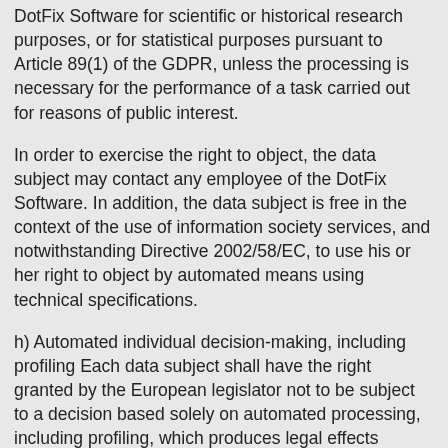DotFix Software for scientific or historical research purposes, or for statistical purposes pursuant to Article 89(1) of the GDPR, unless the processing is necessary for the performance of a task carried out for reasons of public interest.
In order to exercise the right to object, the data subject may contact any employee of the DotFix Software. In addition, the data subject is free in the context of the use of information society services, and notwithstanding Directive 2002/58/EC, to use his or her right to object by automated means using technical specifications.
h) Automated individual decision-making, including profiling Each data subject shall have the right granted by the European legislator not to be subject to a decision based solely on automated processing, including profiling, which produces legal effects concerning him or her, or similarly significantly affects him or her, as long as the decision (1) is not is necessary for entering into, or the performance of, a